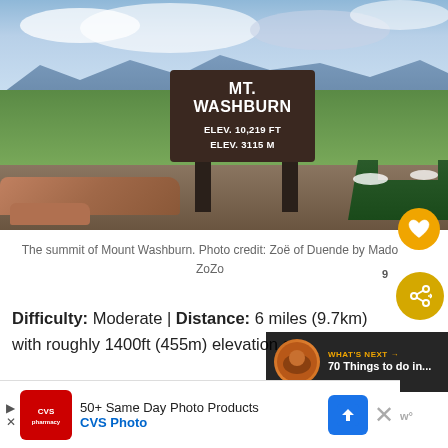[Figure (photo): Summit of Mount Washburn with a brown wooden sign reading 'MT. WASHBURN ELEV. 10,219 FT ELEV. 3115 M', mountain panorama with green valleys and cloudy sky in background]
The summit of Mount Washburn. Photo credit: Zoë of Duende by Mado ZoZo
Difficulty: Moderate | Distance: 6 miles (9.7km) with roughly 1400ft (455m) elevation gain.
Estimated Time: 3-5 hours